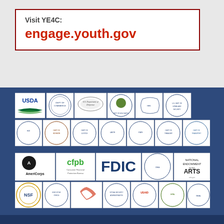Visit YE4C:
engage.youth.gov
[Figure (logo): Grid of US government agency logos including USDA, Dept of Commerce, Dept of Defense, Dept of Education, HHS, Dept of Homeland Security (row 1); HUD, Dept of Interior, Dept of Justice, Dept of Labor(?), Dept of State, Dept of Treasury, Dept of Transportation (row 2); AmeriCorps, CFPB, FDIC, DEA, National Endowment for the Arts (row 3); NSF, Executive Office of the President, AmeriCorps/Peace Corps, Social Security Administration, USAID, EPA, another seal (row 4)]